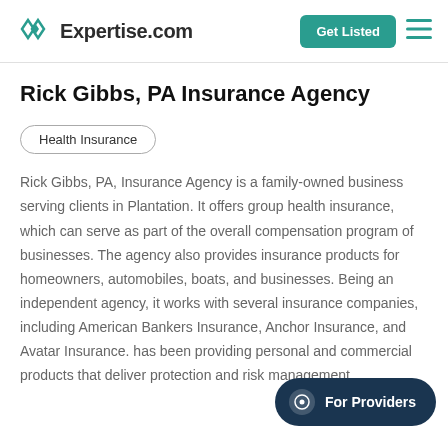Expertise.com — Get Listed
Rick Gibbs, PA Insurance Agency
Health Insurance
Rick Gibbs, PA, Insurance Agency is a family-owned business serving clients in Plantation. It offers group health insurance, which can serve as part of the overall compensation program of businesses. The agency also provides insurance products for homeowners, automobiles, boats, and businesses. Being an independent agency, it works with several insurance companies, including American Bankers Insurance, Anchor Insurance, and Avatar Insurance. has been providing personal and commercial products that deliver protection and risk management